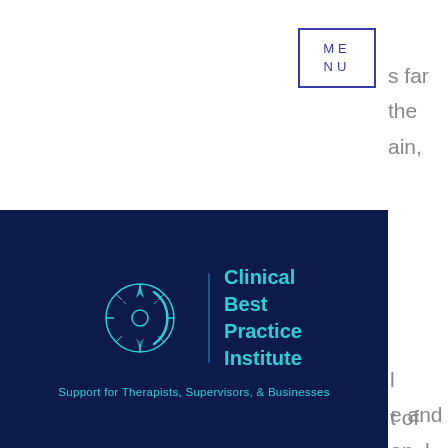[Figure (screenshot): Navigation menu button with 'ME NU' text in blue outlined box, top right area]
s far
the
ain,
[Figure (logo): Clinical Best Practice Institute logo on dark navy background with compass/moon SVG icon and tagline 'Support for Therapists, Supervisors, & Businesses']
l
e and
on, l
sion
t of
an